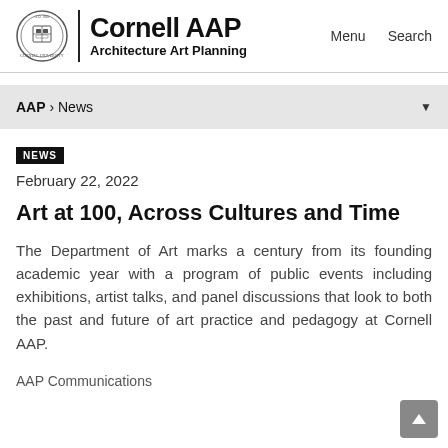[Figure (logo): Cornell University seal and Cornell AAP logo with text 'Cornell AAP Architecture Art Planning']
Menu   Search
AAP › News
NEWS
February 22, 2022
Art at 100, Across Cultures and Time
The Department of Art marks a century from its founding academic year with a program of public events including exhibitions, artist talks, and panel discussions that look to both the past and future of art practice and pedagogy at Cornell AAP.
AAP Communications